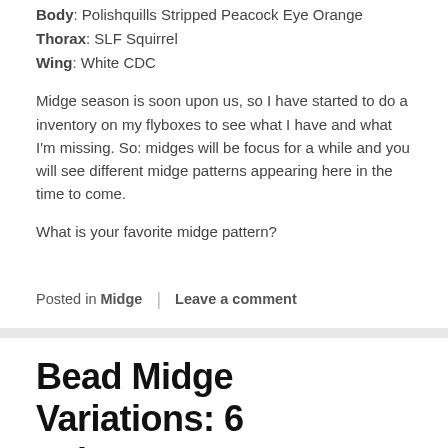Body: Polishquills Stripped Peacock Eye Orange
Thorax: SLF Squirrel
Wing: White CDC
Midge season is soon upon us, so I have started to do a inventory on my flyboxes to see what I have and what I'm missing. So: midges will be focus for a while and you will see different midge patterns appearing here in the time to come.
What is your favorite midge pattern?
Posted in Midge | Leave a comment
Bead Midge Variations: 6 colors
Posted on 15 January, 2014 by Håvard Eide
flysite midge